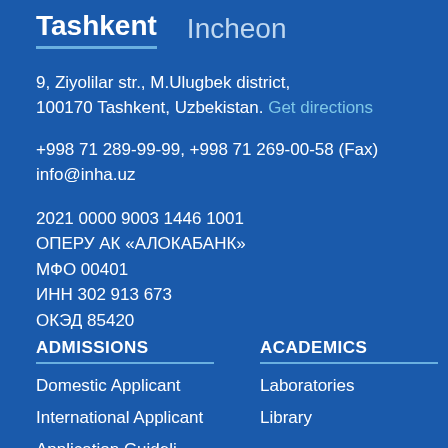Tashkent   Incheon
9, Ziyolilar str., M.Ulugbek district, 100170 Tashkent, Uzbekistan. Get directions
+998 71 289-99-99, +998 71 269-00-58 (Fax)
info@inha.uz
2021 0000 9003 1446 1001
ОПЕРУ АК «АЛОКАБАНК»
МФО 00401
ИНН 302 913 673
ОКЭД 85420
ADMISSIONS
Domestic Applicant
International Applicant
Application Guideli...
ACADEMICS
Laboratories
Library